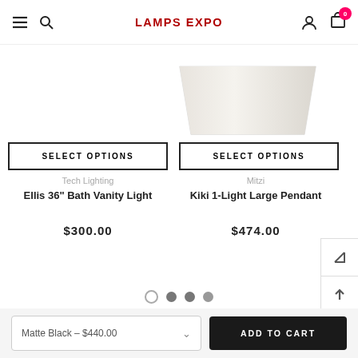LAMPS EXPO
[Figure (photo): Partial view of a lamp shade, white/cream colored, on right side column]
SELECT OPTIONS
SELECT OPTIONS
Tech Lighting
Ellis 36" Bath Vanity Light
$300.00
Mitzi
Kiki 1-Light Large Pendant
$474.00
Matte Black - $440.00
ADD TO CART